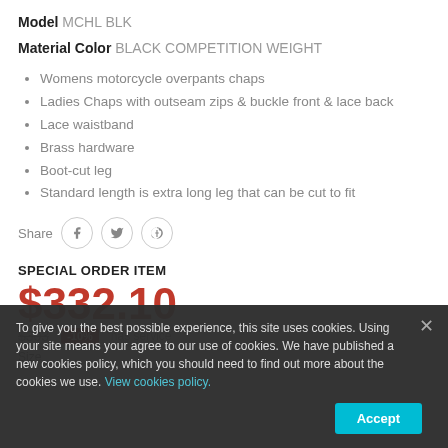Model MCHL BLK
Material Color BLACK COMPETITION WEIGHT
Womens motorcycle overpants chaps
Ladies Chaps with outseam zips & buckle front & lace back
Lace waistband
Brass hardware
Boot-cut leg
Standard length is extra long leg that can be cut to fit
Share
SPECIAL ORDER ITEM
$332.10
To give you the best possible experience, this site uses cookies. Using your site means your agree to our use of cookies. We have published a new cookies policy, which you should need to find out more about the cookies we use. View cookies policy. Accept